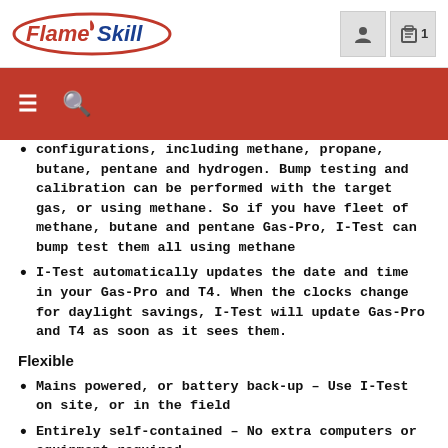FlameSkill
configurations, including methane, propane, butane, pentane and hydrogen. Bump testing and calibration can be performed with the target gas, or using methane. So if you have fleet of methane, butane and pentane Gas-Pro, I-Test can bump test them all using methane
I-Test automatically updates the date and time in your Gas-Pro and T4. When the clocks change for daylight savings, I-Test will update Gas-Pro and T4 as soon as it sees them.
Flexible
Mains powered, or battery back-up – Use I-Test on site, or in the field
Entirely self-contained – No extra computers or equipment required
Ability to update Gas-Pro and T4 configurations – For